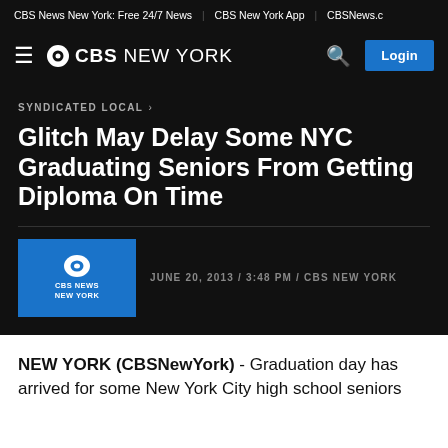CBS News New York: Free 24/7 News | CBS New York App | CBSNews.c
≡ ⊙CBS NEW YORK   🔍  Login
SYNDICATED LOCAL ›
Glitch May Delay Some NYC Graduating Seniors From Getting Diploma On Time
JUNE 20, 2013 / 3:48 PM / CBS NEW YORK
NEW YORK (CBSNewYork) - Graduation day has arrived for some New York City high school seniors